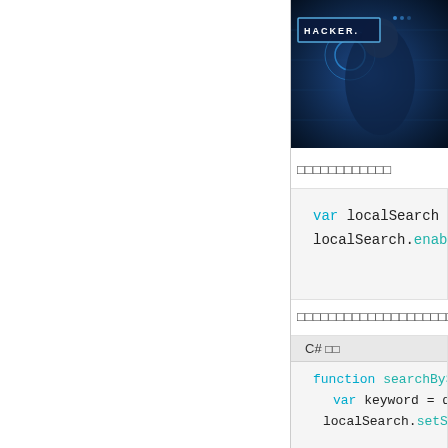[Figure (photo): Hacker themed image with dark blue digital background and a person, with a 'HACKER.' badge overlay in the top-left of the image area]
（中文文字内容省略）
[Figure (screenshot): Code block showing: var localSearch = new BMap.LocalSe... / localSearch.enableAutoViewport();]
（中文文字内容省略）
[Figure (screenshot): Code block with C# tab label showing: function searchByStationName() { / var keyword = document.getEleme... / localSearch.setSearchCompleteC... / var poi = searchResult.getP... / document.getElementById('re... / map.centerAndZoom(poi.point...]